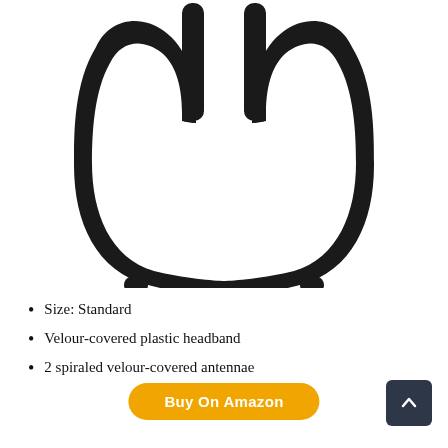[Figure (photo): A black velour-covered plastic headband with two tall antenna-like protrusions at the top, photographed on a white background.]
Size: Standard
Velour-covered plastic headband
2 spiraled velour-covered antennae